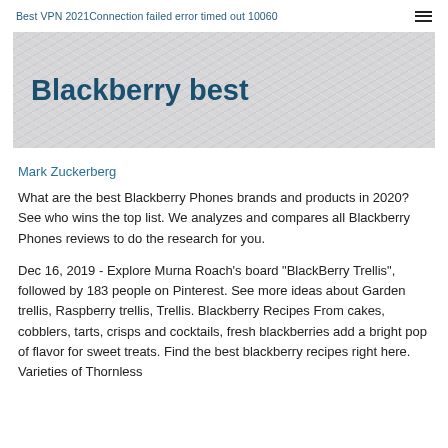Best VPN 2021Connection failed error timed out 10060
Blackberry best
Mark Zuckerberg
What are the best Blackberry Phones brands and products in 2020? See who wins the top list. We analyzes and compares all Blackberry Phones reviews to do the research for you.
Dec 16, 2019 - Explore Murna Roach's board "BlackBerry Trellis", followed by 183 people on Pinterest. See more ideas about Garden trellis, Raspberry trellis, Trellis. Blackberry Recipes From cakes, cobblers, tarts, crisps and cocktails, fresh blackberries add a bright pop of flavor for sweet treats. Find the best blackberry recipes right here. Varieties of Thornless